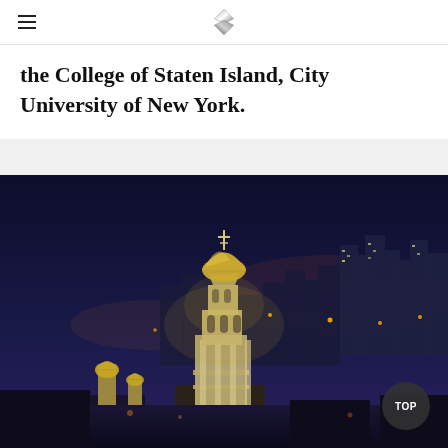[Logo / navigation bar]
the College of Staten Island, City University of New York.
[Figure (photo): Night cityscape with an illuminated Orthodox church bell tower in the foreground and a city skyline with lights in the background]